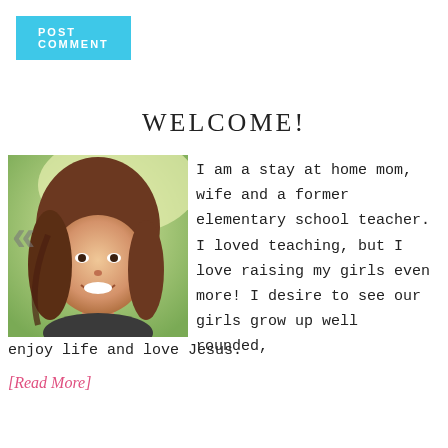[Figure (other): Blue POST COMMENT button at top left]
WELCOME!
[Figure (photo): Portrait photo of a smiling young woman with long brown hair, outdoors with blurred green/yellow background. Left and right navigation arrows (< >) overlay the sides.]
I am a stay at home mom, wife and a former elementary school teacher. I loved teaching, but I love raising my girls even more! I desire to see our girls grow up well rounded, enjoy life and love Jesus.
[Read More]